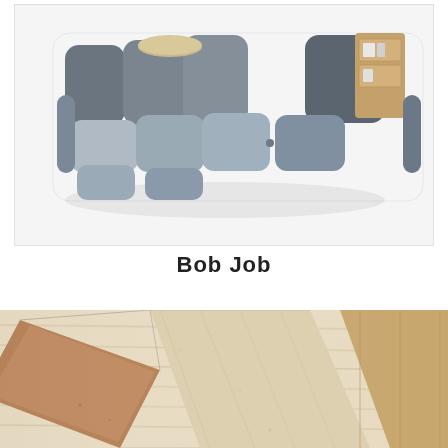[Figure (photo): Modular sofa/seating system in grey fabric, bird's eye perspective, with wooden shelf unit integrated. Multiple cube-like cushioned modules arranged together on a white background.]
Bob Job
[Figure (photo): Close-up of wooden surface with geometric chevron/diamond patterns inlaid in cork and light wood, showing texture and grain detail.]